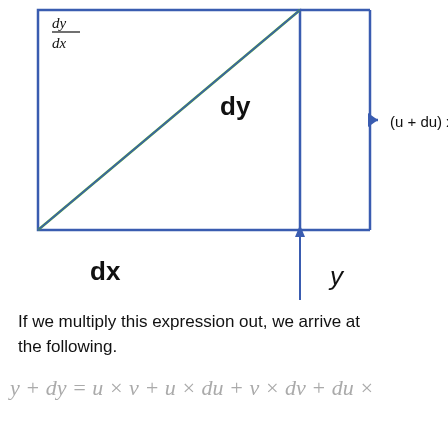[Figure (math-figure): Geometric diagram showing a right triangle with legs dx and dy, with dy/dx label on the hypotenuse. A separate blue bracket shape shows y on the vertical axis and labels (u + du) x (v + dv) to the right, with an upward blue arrow.]
If we multiply this expression out, we arrive at the following.